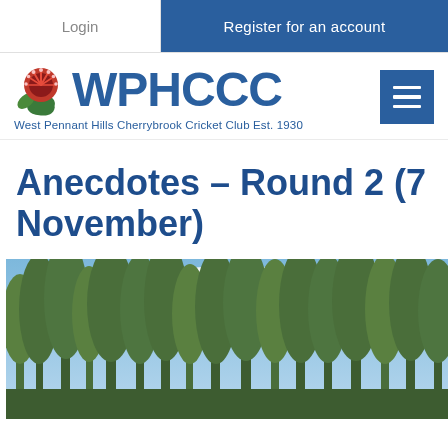Login | Register for an account
[Figure (logo): WPHCCC – West Pennant Hills Cherrybrook Cricket Club Est. 1930 logo with waratah flower]
Anecdotes – Round 2 (7 November)
[Figure (photo): Photo of tall eucalyptus trees against a blue sky with white clouds]